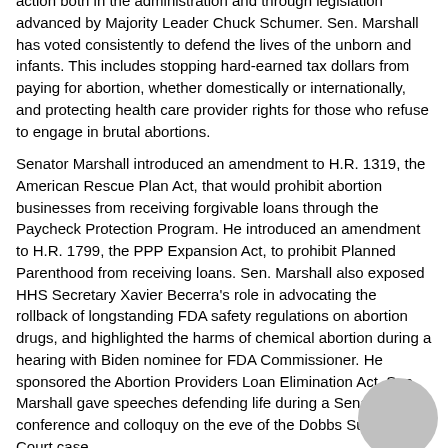action both in the administration and through legislation advanced by Majority Leader Chuck Schumer. Sen. Marshall has voted consistently to defend the lives of the unborn and infants. This includes stopping hard-earned tax dollars from paying for abortion, whether domestically or internationally, and protecting health care provider rights for those who refuse to engage in brutal abortions.
Senator Marshall introduced an amendment to H.R. 1319, the American Rescue Plan Act, that would prohibit abortion businesses from receiving forgivable loans through the Paycheck Protection Program. He introduced an amendment to H.R. 1799, the PPP Expansion Act, to prohibit Planned Parenthood from receiving loans. Sen. Marshall also exposed HHS Secretary Xavier Becerra's role in advocating the rollback of longstanding FDA safety regulations on abortion drugs, and highlighted the harms of chemical abortion during a hearing with Biden nominee for FDA Commissioner. He sponsored the Abortion Providers Loan Elimination Act. Sen. Marshall gave speeches defending life during a Senate press conference and colloquy on the eve of the Dobbs Supreme Court case.